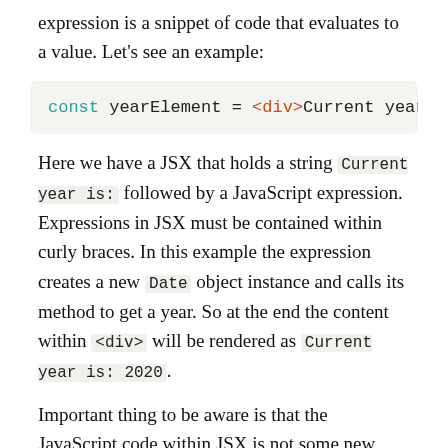expression is a snippet of code that evaluates to a value. Let's see an example:
const yearElement = <div>Current year is:
Here we have a JSX that holds a string Current year is: followed by a JavaScript expression. Expressions in JSX must be contained within curly braces. In this example the expression creates a new Date object instance and calls its method to get a year. So at the end the content within <div> will be rendered as Current year is: 2020.
Important thing to be aware is that the JavaScript code within JSX is not some new special syntax added on top of HTML. We are using a standard